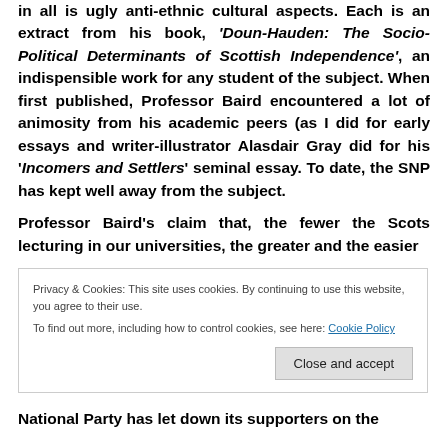in all is ugly anti-ethnic cultural aspects. Each is an extract from his book, 'Doun-Hauden: The Socio-Political Determinants of Scottish Independence', an indispensible work for any student of the subject. When first published, Professor Baird encountered a lot of animosity from his academic peers (as I did for early essays and writer-illustrator Alasdair Gray did for his 'Incomers and Settlers' seminal essay. To date, the SNP has kept well away from the subject.

Professor Baird's claim that, the fewer the Scots lecturing in our universities, the greater and the easier
Privacy & Cookies: This site uses cookies. By continuing to use this website, you agree to their use.
To find out more, including how to control cookies, see here: Cookie Policy
National Party has let down its supporters on the